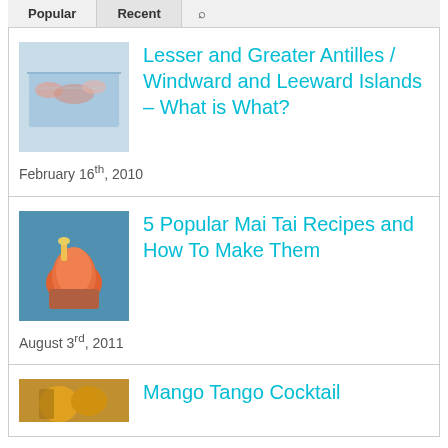Popular | Recent | [icon]
[Figure (photo): Thumbnail map image of Caribbean islands]
Lesser and Greater Antilles / Windward and Leeward Islands – What is What?
February 16th, 2010
[Figure (photo): Thumbnail photo of a red/orange Mai Tai cocktail with garnish]
5 Popular Mai Tai Recipes and How To Make Them
August 3rd, 2011
[Figure (photo): Thumbnail photo of a mango cocktail drink]
Mango Tango Cocktail